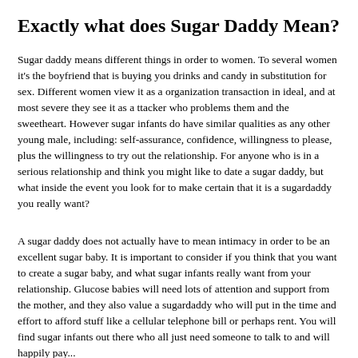Exactly what does Sugar Daddy Mean?
Sugar daddy means different things in order to women. To several women it’s the boyfriend that is buying you drinks and candy in substitution for sex. Different women view it as a organization transaction in ideal, and at most severe they see it as a ttacker who problems them and the sweetheart. However sugar infants do have similar qualities as any other young male, including: self-assurance, confidence, willingness to please, plus the willingness to try out the relationship. For anyone who is in a serious relationship and think you might like to date a sugar daddy, but what inside the event you look for to make certain that it is a sugardaddy you really want?
A sugar daddy does not actually have to mean intimacy in order to be an excellent sugar baby. It is important to consider if you think that you want to create a sugar baby, and what sugar infants really want from your relationship. Glucose babies will need lots of attention and support from the mother, and they also value a sugardaddy who will put in the time and effort to afford stuff like a cellular telephone bill or perhaps rent. You will find sugar infants out there who all just need someone to talk to and will happily pay...